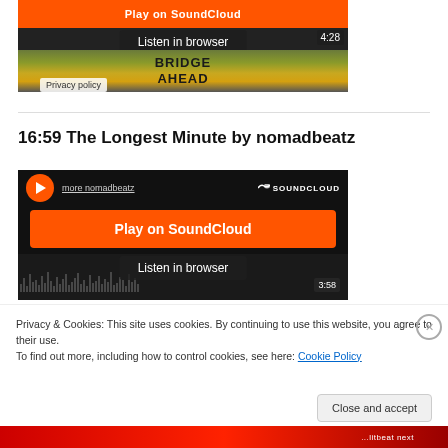[Figure (screenshot): SoundCloud embedded player showing a track with 'Play on SoundCloud' orange button, 'Listen in browser' overlay, waveform, time 4:28, and 'Privacy policy' label. Background shows a yellow bridge warning sign.]
16:59 The Longest Minute by nomadbeatz
[Figure (screenshot): SoundCloud embedded player for 'The Longest Minute by nomadbeatz' showing play button, 'more nomadbeatz' link, SoundCloud logo, large orange 'Play on SoundCloud' button, waveform bars, 'Listen in browser' overlay, and time badge 3:58.]
Privacy & Cookies: This site uses cookies. By continuing to use this website, you agree to their use.
To find out more, including how to control cookies, see here: Cookie Policy
Close and accept